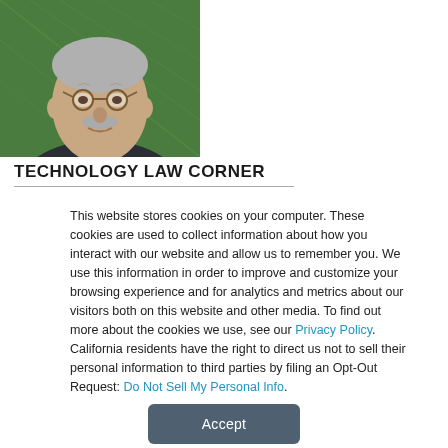[Figure (photo): Headshot of an older man with glasses, grey mustache and hair, wearing a dark suit and green tie, against a green background.]
TECHNOLOGY LAW CORNER
This website stores cookies on your computer. These cookies are used to collect information about how you interact with our website and allow us to remember you. We use this information in order to improve and customize your browsing experience and for analytics and metrics about our visitors both on this website and other media. To find out more about the cookies we use, see our Privacy Policy. California residents have the right to direct us not to sell their personal information to third parties by filing an Opt-Out Request: Do Not Sell My Personal Info.
Accept